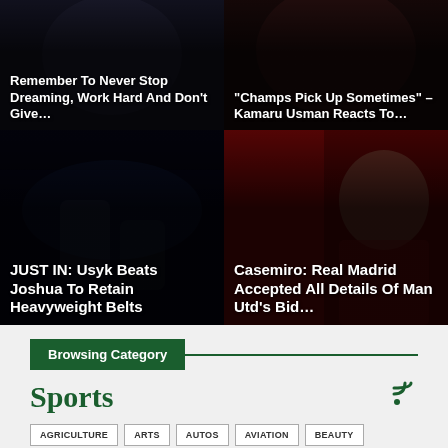[Figure (photo): Sports news card: person with text overlay - Remember To Never Stop Dreaming, Work Hard And Don't Give...]
[Figure (photo): Sports news card: MMA/UFC figure with text overlay - Champs Pick Up Sometimes – Kamaru Usman Reacts To...]
[Figure (photo): Sports news card: boxing match Usyk vs Joshua with text overlay - JUST IN: Usyk Beats Joshua To Retain Heavyweight Belts]
[Figure (photo): Sports news card: Casemiro in Manchester United kit with text overlay - Casemiro: Real Madrid Accepted All Details Of Man Utd's Bid...]
Browsing Category
Sports
AGRICULTURE
ARTS
AUTOS
AVIATION
BEAUTY
BEAUTY OF THE WEEK
BREAKING